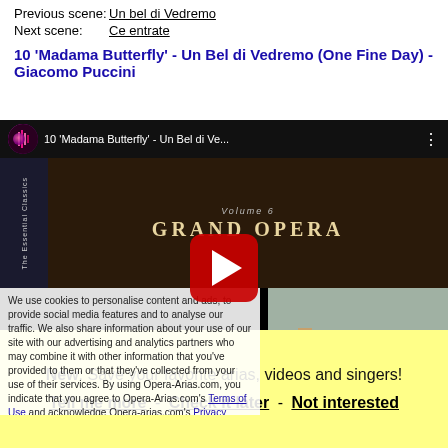Previous scene: Un bel di Vedremo
Next scene: Ce entrate
10 'Madama Butterfly' - Un Bel di Vedremo (One Fine Day) - Giacomo Puccini
[Figure (screenshot): YouTube video thumbnail showing Grand Opera Volume 6 album cover with play button overlay and cookie consent overlay partially covering the image]
New: Save your favorite arias, videos and singers!
Tell me more - Check it later - Not interested